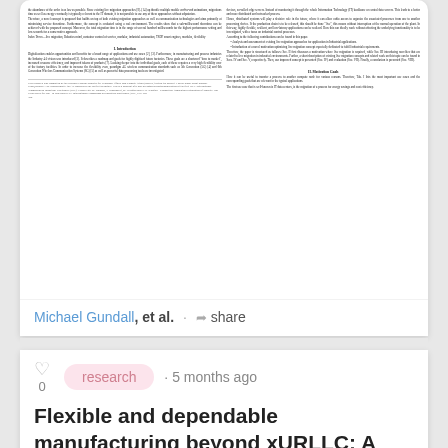[Figure (screenshot): A rendered academic paper page showing two columns of small text with introduction and migration goals sections visible]
Michael Gundall, et al. · share
research · 5 months ago
Flexible and dependable manufacturing beyond xURLLC: A novel framework for communication-control co-design